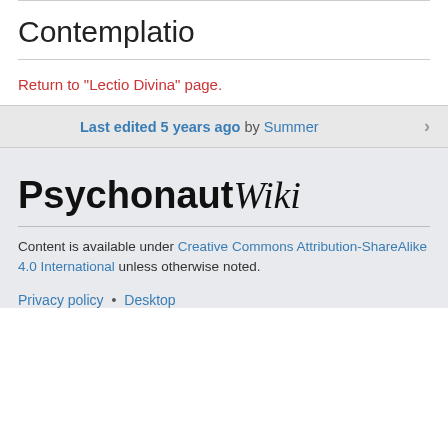Contemplatio
Return to "Lectio Divina" page.
Last edited 5 years ago by Summer
[Figure (logo): PsychonautWiki logo text — 'Psychonaut' in bold sans-serif and 'Wiki' in italic serif]
Content is available under Creative Commons Attribution-ShareAlike 4.0 International unless otherwise noted.
Privacy policy • Desktop